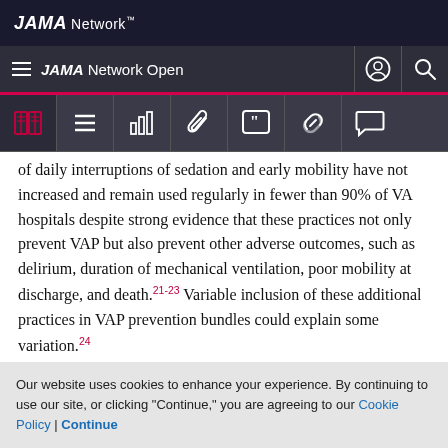JAMA Network
JAMA Network Open
of daily interruptions of sedation and early mobility have not increased and remain used regularly in fewer than 90% of VA hospitals despite strong evidence that these practices not only prevent VAP but also prevent other adverse outcomes, such as delirium, duration of mechanical ventilation, poor mobility at discharge, and death.21-23 Variable inclusion of these additional practices in VAP prevention bundles could explain some variation.24
Our website uses cookies to enhance your experience. By continuing to use our site, or clicking "Continue," you are agreeing to our Cookie Policy | Continue